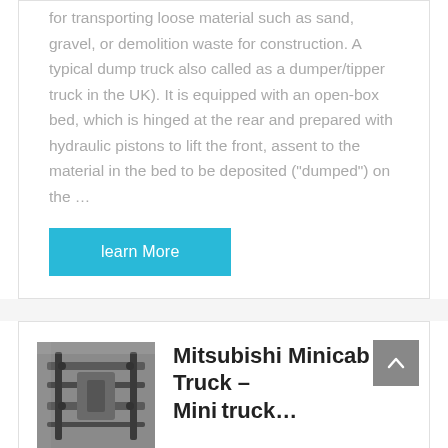for transporting loose material such as sand, gravel, or demolition waste for construction. A typical dump truck also called as a dumper/tipper truck in the UK). It is equipped with an open-box bed, which is hinged at the rear and prepared with hydraulic pistons to lift the front, assent to the material in the bed to be deposited ("dumped") on the …
[Figure (other): Learn More button — cyan/turquoise rectangular button with white text]
[Figure (photo): Undercarriage of a vehicle (Mitsubishi Minicab Mini Truck), viewed from below, showing metal components and chassis.]
Mitsubishi Minicab Mini Truck –